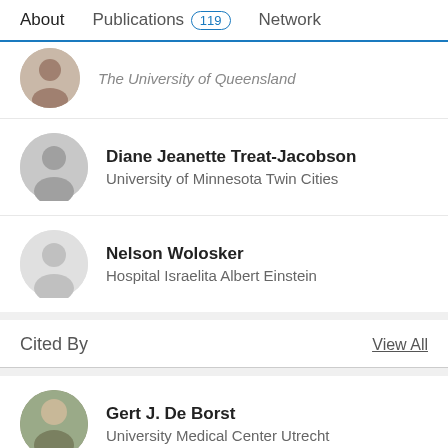About | Publications 119 | Network
The University of Queensland
Diane Jeanette Treat-Jacobson
University of Minnesota Twin Cities
Nelson Wolosker
Hospital Israelita Albert Einstein
Cited By
View All
Gert J. De Borst
University Medical Center Utrecht
Nachiappan Chockalingam
Staffordshire University
Viktória Szabó